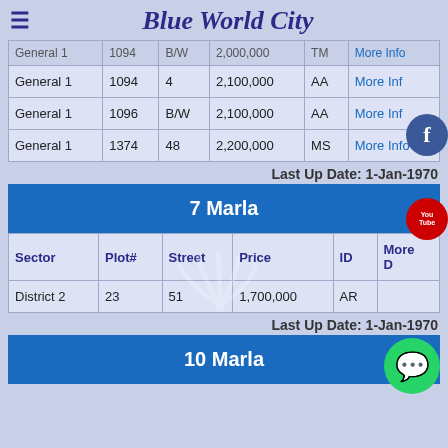Blue World City
| Sector | Plot# | Street | Price | ID | More Details |
| --- | --- | --- | --- | --- | --- |
| General 1 | 1094 | B/W | 2,000,000 | TM | More Info |
| General 1 | 1094 | 4 | 2,100,000 | AA | More Info |
| General 1 | 1096 | B/W | 2,100,000 | AA | More Info |
| General 1 | 1374 | 48 | 2,200,000 | MS | More Info |
Last Up Date: 1-Jan-1970
7 Marla
| Sector | Plot# | Street | Price | ID | More Details |
| --- | --- | --- | --- | --- | --- |
| District 2 | 23 | 51 | 1,700,000 | AR | More Info |
Last Up Date: 1-Jan-1970
10 Marla